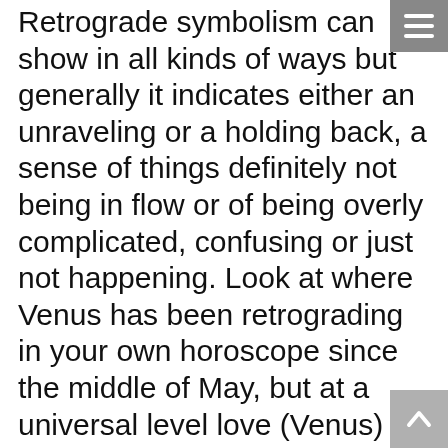Retrograde symbolism can show in all kinds of ways but generally it indicates either an unraveling or a holding back, a sense of things definitely not being in flow or of being overly complicated, confusing or just not happening. Look at where Venus has been retrograding in your own horoscope since the middle of May, but at a universal level love (Venus) decisions or choices or insights (Gemini/Mercury) are on the cards for many, as is the possibility of new faces. Pay special attention to what comes up for you, or who appears in your life, as Venus turns around.
Turning points are a major theme, including getting back to work and earning again,